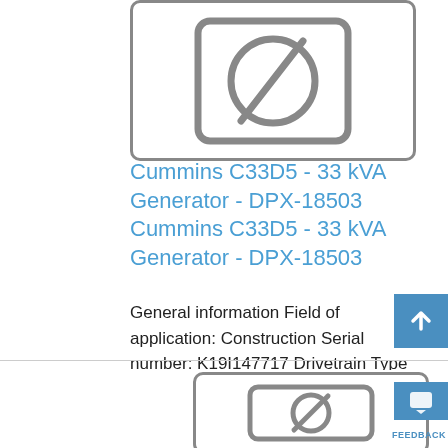[Figure (other): Placeholder image with no-image icon (rounded rectangle with diagonal line through circle) for Cummins C33D5 generator product listing]
Cummins C33D5 - 33 kVA Generator - DPX-18503 Cummins C33D5 - 33 kVA Generator - DPX-18503
General information Field of application: Construction Serial number: K19I147717 Drivetrain Type of fuel: Diesel Hcorvp Make of engine: Cummins X3.3-G1 Weights Empty weight: 1.10... ...
[Figure (other): Second placeholder image with no-image icon (rounded rectangle with diagonal line through circle) for another product listing]